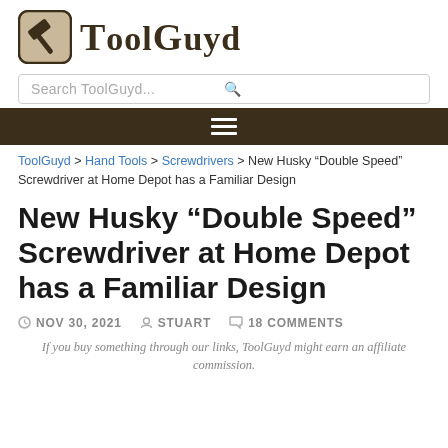[Figure (logo): ToolGuyd logo with hammer icon in a rounded square and bold serif wordmark text]
Search ToolGuyd...
[Figure (other): Dark brown navigation bar with hamburger menu icon (three white horizontal lines)]
ToolGuyd > Hand Tools > Screwdrivers > New Husky "Double Speed" Screwdriver at Home Depot has a Familiar Design
New Husky “Double Speed” Screwdriver at Home Depot has a Familiar Design
NOV 30, 2021  STUART  18 COMMENTS
If you buy something through our links, ToolGuyd might earn an affiliate commission.